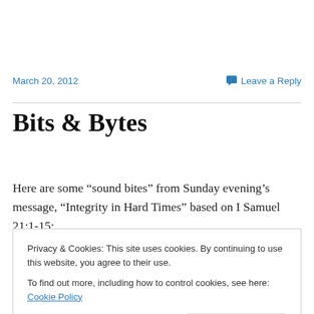March 20, 2012
Leave a Reply
Bits & Bytes
Here are some “sound bites” from Sunday evening’s message, “Integrity in Hard Times” based on I Samuel 21:1-15:
Privacy & Cookies: This site uses cookies. By continuing to use this website, you agree to their use.
To find out more, including how to control cookies, see here: Cookie Policy
Close and accept